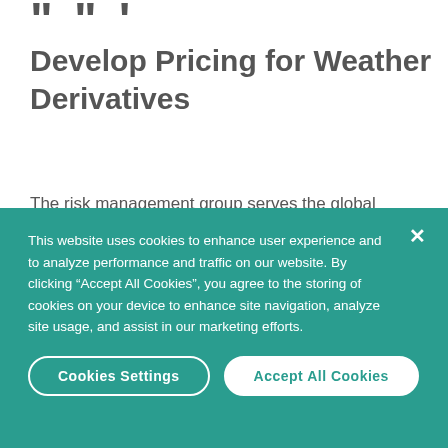[Figure (illustration): Decorative quotation mark symbols at top left of page]
Develop Pricing for Weather Derivatives
The risk management group serves the global financial markets through its natural hazard and catastrophe risk modeling businesses. In the area of weather risk management, the company's application offers sophisticated analytical tools for structuring, pricing,
This website uses cookies to enhance user experience and to analyze performance and traffic on our website. By clicking “Accept All Cookies”, you agree to the storing of cookies on your device to enhance site navigation, analyze site usage, and assist in our marketing efforts.
Cookies Settings
Accept All Cookies